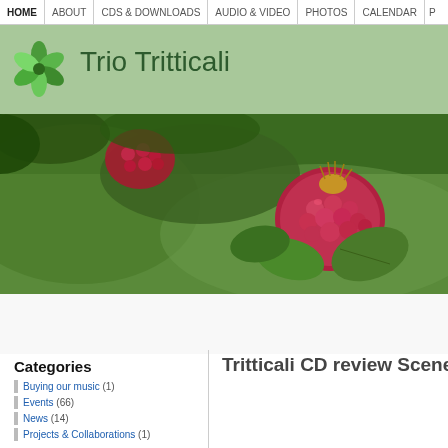HOME | ABOUT | CDS & DOWNLOADS | AUDIO & VIDEO | PHOTOS | CALENDAR | P
Trio Tritticali
[Figure (photo): Close-up photograph of red raspberries on a plant with green leaves and bokeh background]
Categories
Buying our music (1)
Events (66)
News (14)
Projects & Collaborations (1)
Tritticali CD review Scene